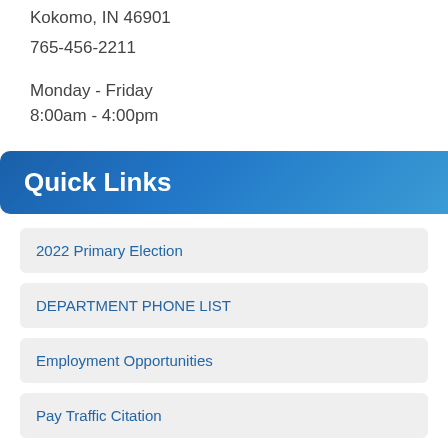Kokomo, IN 46901
765-456-2211
Monday - Friday
8:00am - 4:00pm
Quick Links
2022 Primary Election
DEPARTMENT PHONE LIST
Employment Opportunities
Pay Traffic Citation